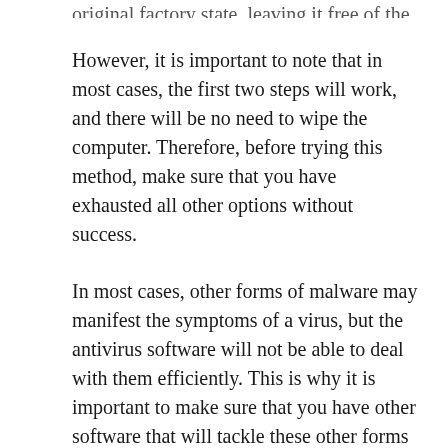original factory state, leaving it free of the virus.
However, it is important to note that in most cases, the first two steps will work, and there will be no need to wipe the computer. Therefore, before trying this method, make sure that you have exhausted all other options without success.
In most cases, other forms of malware may manifest the symptoms of a virus, but the antivirus software will not be able to deal with them efficiently. This is why it is important to make sure that you have other software that will tackle these other forms or have the comprehensive anti-malware software.
The primary objective of virus removal in computers is to ensure that all data is kept safe. This safety is also maintained by backing up data, making sure your computer software is up-to-date, installing an efficient antivirus, and also keeping off any conceivably harmful